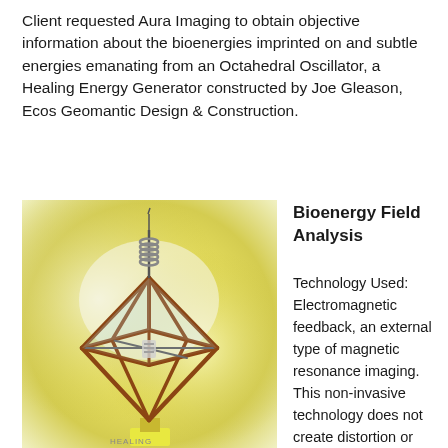Client requested Aura Imaging to obtain objective information about the bioenergies imprinted on and subtle energies emanating from an Octahedral Oscillator, a Healing Energy Generator constructed by Joe Gleason, Ecos Geomantic Design & Construction.
[Figure (photo): Photo of an Octahedral Oscillator — a copper-framed octahedral geometric structure with a coil antenna at the top and a crystal/coil element at the center, set against a yellow and white blurred background, mounted on a small yellow base. Text 'HEALING' visible at bottom.]
Bioenergy Field Analysis
Technology Used: Electromagnetic feedback, an external type of magnetic resonance imaging. This non-invasive technology does not create distortion or